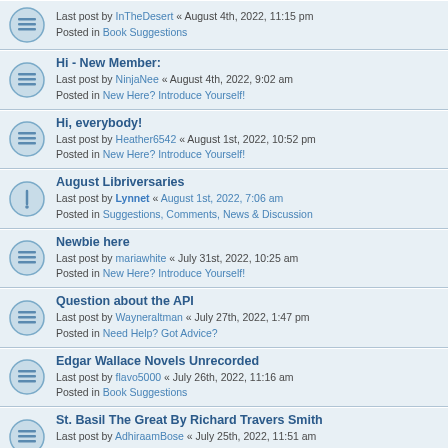Last post by InTheDesert « August 4th, 2022, 11:15 pm
Posted in Book Suggestions
Hi - New Member:
Last post by NinjaNee « August 4th, 2022, 9:02 am
Posted in New Here? Introduce Yourself!
Hi, everybody!
Last post by Heather6542 « August 1st, 2022, 10:52 pm
Posted in New Here? Introduce Yourself!
August Libriversaries
Last post by Lynnet « August 1st, 2022, 7:06 am
Posted in Suggestions, Comments, News & Discussion
Newbie here
Last post by mariawhite « July 31st, 2022, 10:25 am
Posted in New Here? Introduce Yourself!
Question about the API
Last post by Wayneraltman « July 27th, 2022, 1:47 pm
Posted in Need Help? Got Advice?
Edgar Wallace Novels Unrecorded
Last post by flavo5000 « July 26th, 2022, 11:16 am
Posted in Book Suggestions
St. Basil The Great By Richard Travers Smith
Last post by AdhiraamBose « July 25th, 2022, 11:51 am
Posted in Book Suggestions
Saludos desde Rosarito Baja California Mexico
Last post by JoelOliberos « July 24th, 2022, 6:51 am
Posted in New Here? Introduce Yourself!